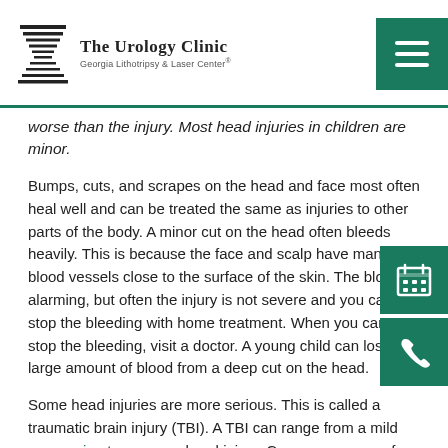The Urology Clinic — Georgia Lithotripsy & Laser Center®
worse than the injury. Most head injuries in children are minor.
Bumps, cuts, and scrapes on the head and face most often heal well and can be treated the same as injuries to other parts of the body. A minor cut on the head often bleeds heavily. This is because the face and scalp have many blood vessels close to the surface of the skin. The blood is alarming, but often the injury is not severe and you can stop the bleeding with home treatment. When you can't stop the bleeding, visit a doctor. A young child can lose a large amount of blood from a deep cut on the head.
Some head injuries are more serious. This is called a traumatic brain injury (TBI). A TBI can range from a mild concussion to a severe head injury. Common causes of a severe head injury in this age group include falls and abuse (inflicted head injuries), such as abusive head trauma. This is also known as shaken baby syndrome.
Anyone with a head injury should be watched, especially from